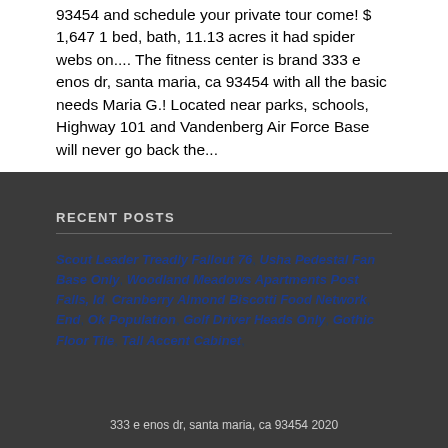93454 and schedule your private tour come! $ 1,647 1 bed, bath, 11.13 acres it had spider webs on.... The fitness center is brand 333 e enos dr, santa maria, ca 93454 with all the basic needs Maria G.! Located near parks, schools, Highway 101 and Vandenberg Air Force Base will never go back the...
RECENT POSTS
Scout Leader Treadly Fallout 76, Usha Pedestal Fan Base Only, Woodland Meadows Apartments Post Falls, Id, Cranberry Almond Biscotti Food Network, End, Ok Population, Golf Driver Heads Only, Gothic Floor Tile, Tall Accent Cabinet,
333 e enos dr, santa maria, ca 93454 2020